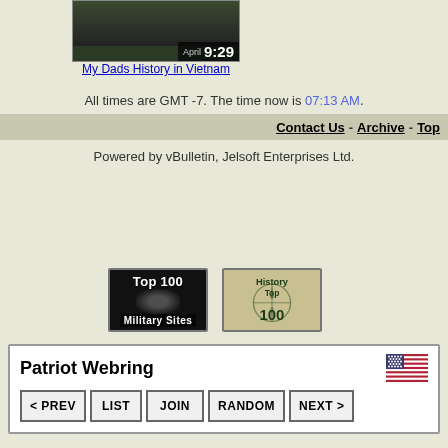[Figure (screenshot): Video thumbnail showing My Dads History in Vietnam with timestamp 9:29]
My Dads History in Vietnam
All times are GMT -7. The time now is 07:13 AM.
Contact Us - Archive - Top
Powered by vBulletin, Jelsoft Enterprises Ltd.
[Figure (logo): Top 100 Military Sites badge]
[Figure (logo): History Top 100 badge]
Patriot Webring navigation with buttons: < PREV, LIST, JOIN, RANDOM, NEXT >